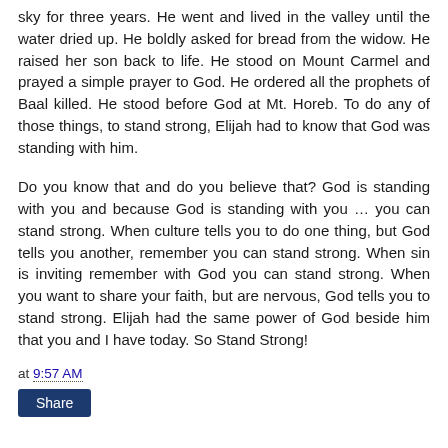sky for three years. He went and lived in the valley until the water dried up. He boldly asked for bread from the widow. He raised her son back to life. He stood on Mount Carmel and prayed a simple prayer to God. He ordered all the prophets of Baal killed. He stood before God at Mt. Horeb. To do any of those things, to stand strong, Elijah had to know that God was standing with him.
Do you know that and do you believe that? God is standing with you and because God is standing with you … you can stand strong. When culture tells you to do one thing, but God tells you another, remember you can stand strong. When sin is inviting remember with God you can stand strong. When you want to share your faith, but are nervous, God tells you to stand strong. Elijah had the same power of God beside him that you and I have today. So Stand Strong!
at 9:57 AM
Share